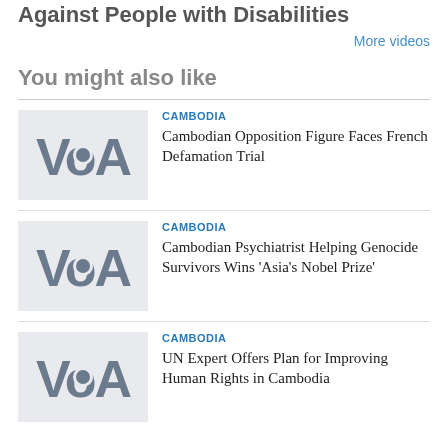Against People with Disabilities
More videos
You might also like
CAMBODIA — Cambodian Opposition Figure Faces French Defamation Trial
CAMBODIA — Cambodian Psychiatrist Helping Genocide Survivors Wins 'Asia's Nobel Prize'
CAMBODIA — UN Expert Offers Plan for Improving Human Rights in Cambodia